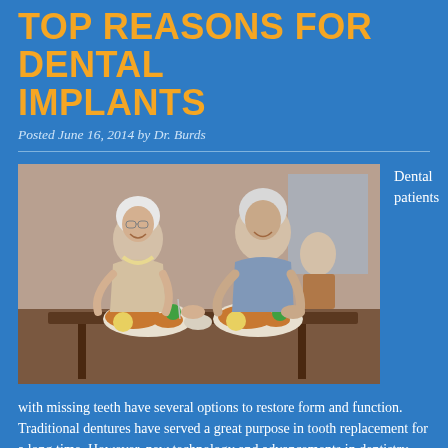TOP REASONS FOR DENTAL IMPLANTS
Posted June 16, 2014 by Dr. Burds
[Figure (photo): Elderly couple smiling and eating a meal together at a dining table, with another elderly person seated in background.]
Dental patients
with missing teeth have several options to restore form and function. Traditional dentures have served a great purpose in tooth replacement for a long time. However, new technology and advancements in dentistry allow dentists to provide patients with the means of replacement which most closely mimic natural teeth. Dental implants are increasingly popular as a modern solution for tooth loss